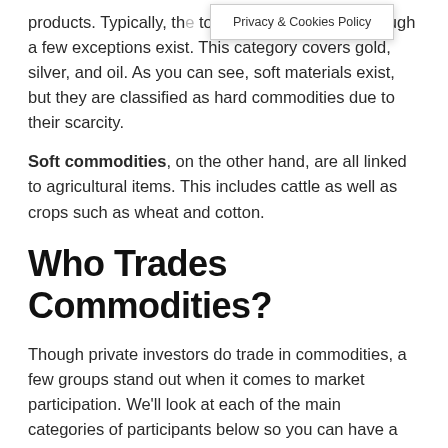products. Typically, th[e] tougher substances, although a few exceptions exist. This category covers gold, silver, and oil. As you can see, soft materials exist, but they are classified as hard commodities due to their scarcity.
Soft commodities, on the other hand, are all linked to agricultural items. This includes cattle as well as crops such as wheat and cotton.
Who Trades Commodities?
Though private investors do trade in commodities, a few groups stand out when it comes to market participation. We'll look at each of the main categories of participants below so you can have a